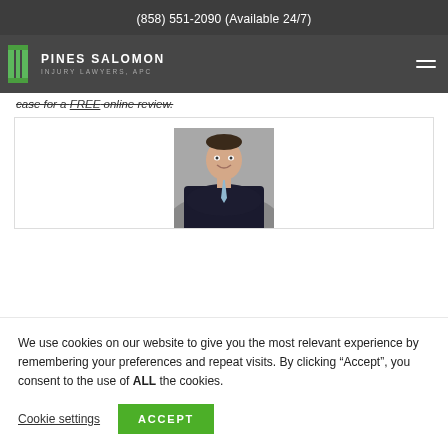(858) 551-2090 (Available 24/7)
[Figure (logo): Pines Salomon Injury Lawyers APC logo with green column icon and white text on dark background]
case for a FREE online review.
[Figure (photo): Professional headshot of a man in a dark suit with arms crossed, smiling, on a grey background]
We use cookies on our website to give you the most relevant experience by remembering your preferences and repeat visits. By clicking “Accept”, you consent to the use of ALL the cookies.
Cookie settings
ACCEPT